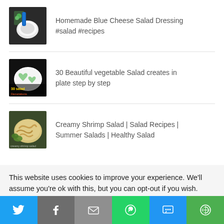Homemade Blue Cheese Salad Dressing #salad #recipes
30 Beautiful vegetable Salad creates in plate step by step
Creamy Shrimp Salad | Salad Recipes | Summer Salads | Healthy Salad
This website uses cookies to improve your experience. We'll assume you're ok with this, but you can opt-out if you wish.
[Figure (infographic): Social share bar with icons: Twitter (blue), Facebook (grey), Email (grey), WhatsApp (green), SMS (blue), More (green)]